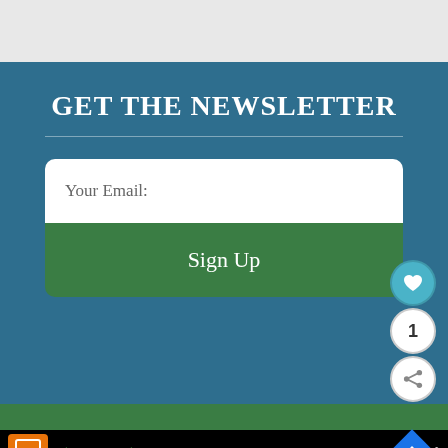GET THE NEWSLETTER
Your Email:
Sign Up
1
Dine-in  Curbside pickup